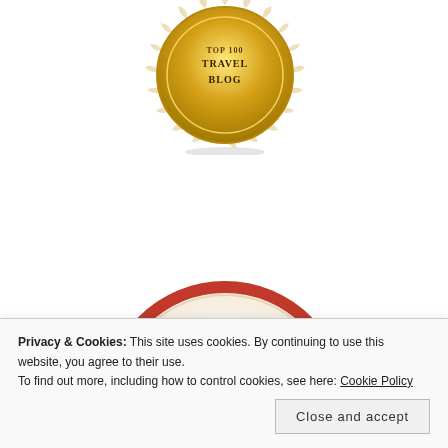[Figure (logo): Gold badge with text TOP 100 TRAVEL BLOG, circular award badge with decorative scalloped border]
[Figure (logo): Circular badge with red scalloped border featuring 'Featured Travel BLOGGER INDIA' text with Rayna logo inside]
Privacy & Cookies: This site uses cookies. By continuing to use this website, you agree to their use. To find out more, including how to control cookies, see here: Cookie Policy
Close and accept